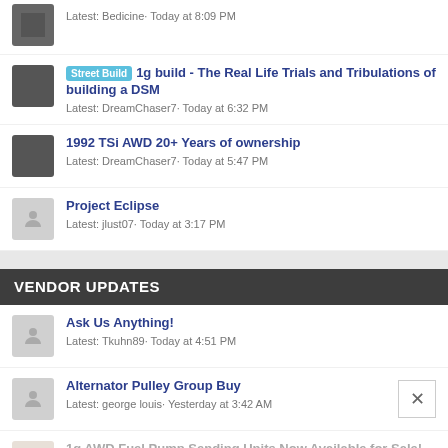Latest: Bedicine· Today at 8:09 PM
Street Build - 1g build - The Real Life Trials and Tribulations of building a DSM
Latest: DreamChaser7· Today at 6:32 PM
1992 TSi AWD 20+ Years of ownership
Latest: DreamChaser7· Today at 5:47 PM
Project Eclipse
Latest: jlust07· Today at 3:17 PM
VENDOR UPDATES
Ask Us Anything!
Latest: Tkuhn89· Today at 4:51 PM
Alternator Pulley Group Buy
Latest: george louis· Yesterday at 3:42 AM
1g AWD Fuel Pump Sending Units Now Available for Sale!
Latest: Mech Addict· Monday at 10:19 PM